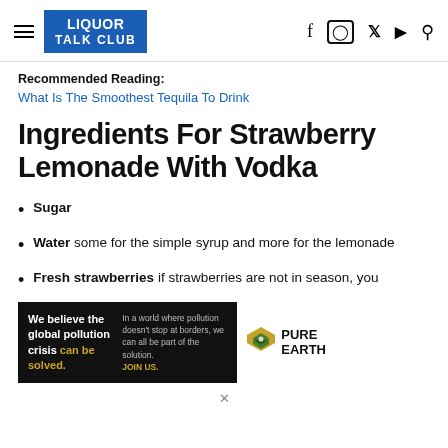LIQUOR TALK CLUB
Recommended Reading:
What Is The Smoothest Tequila To Drink
Ingredients For Strawberry Lemonade With Vodka
Sugar
Water some for the simple syrup and more for the lemonade
Fresh strawberries if strawberries are not in season, you
[Figure (other): Pure Earth advertisement banner: 'We believe the global pollution crisis can be solved. In a world where pollution doesn't stop at borders, we can all be part of the solution. JOIN US.' with Pure Earth logo.]